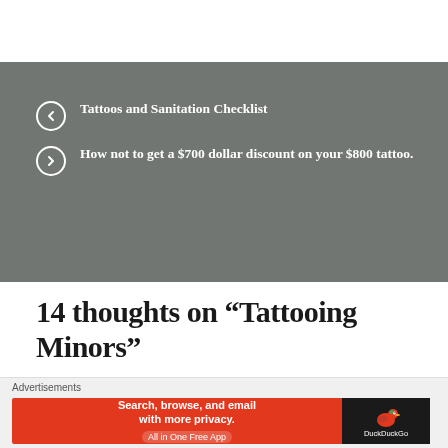Tattoos and Sanitation Checklist
How not to get a $700 dollar discount on your $800 tattoo.
14 thoughts on “Tattooing Minors”
Advertisements
[Figure (other): DuckDuckGo advertisement banner: Search, browse, and email with more privacy. All in One Free App]